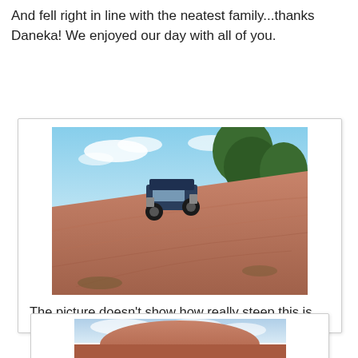And fell right in line with the neatest family...thanks Daneka! We enjoyed our day with all of you.
[Figure (photo): A blue Jeep on a steep red rock slickrock surface with pine trees in the background under a blue sky with clouds.]
The picture doesn't show how really steep this is.
[Figure (photo): Partial view of a red rock dome landscape under a cloudy sky.]